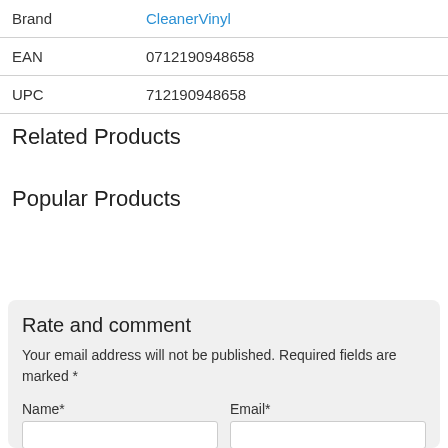| Field | Value |
| --- | --- |
| Brand | CleanerVinyl |
| EAN | 0712190948658 |
| UPC | 712190948658 |
Related Products
Popular Products
Rate and comment
Your email address will not be published. Required fields are marked *
Name*
Email*